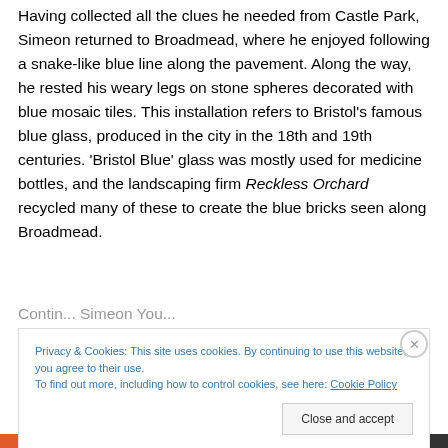Having collected all the clues he needed from Castle Park, Simeon returned to Broadmead, where he enjoyed following a snake-like blue line along the pavement. Along the way, he rested his weary legs on stone spheres decorated with blue mosaic tiles. This installation refers to Bristol's famous blue glass, produced in the city in the 18th and 19th centuries. 'Bristol Blue' glass was mostly used for medicine bottles, and the landscaping firm Reckless Orchard recycled many of these to create the blue bricks seen along Broadmead.
Privacy & Cookies: This site uses cookies. By continuing to use this website, you agree to their use. To find out more, including how to control cookies, see here: Cookie Policy